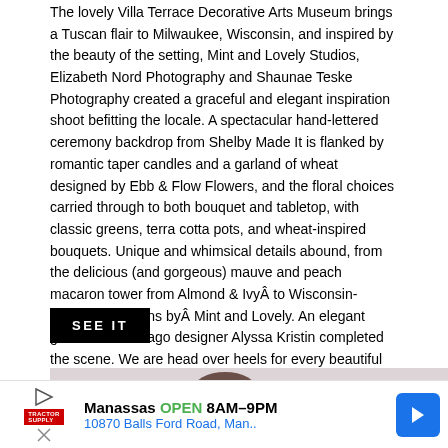The lovely Villa Terrace Decorative Arts Museum brings a Tuscan flair to Milwaukee, Wisconsin, and inspired by the beauty of the setting, Mint and Lovely Studios, Elizabeth Nord Photography and Shaunae Teske Photography created a graceful and elegant inspiration shoot befitting the locale. A spectacular hand-lettered ceremony backdrop from Shelby Made It is flanked by romantic taper candles and a garland of wheat designed by Ebb & Flow Flowers, and the floral choices carried through to both bouquet and tabletop, with classic greens, terra cotta pots, and wheat-inspired bouquets. Unique and whimsical details abound, from the delicious (and gorgeous) mauve and peach macaron tower from Almond & IvyÂ to Wisconsin-shaped invitations byÂ Mint and Lovely. An elegant gown from Chicago designer Alyssa Kristin completed the scene. We are head over heels for every beautiful moment!
SEE IT
[Figure (photo): A couple photographed closely together, partially visible, against a light pinkish-gray background.]
Manassas OPEN 8AM–9PM
10870 Balls Ford Road, Man..